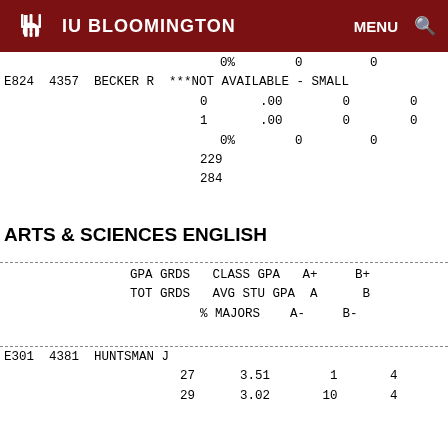IU BLOOMINGTON | MENU
|  |  |  |  |  |  |  |
| --- | --- | --- | --- | --- | --- | --- |
|  |  |  | 0% | 0 | 0 |
| E824 | 4357 | BECKER R | ***NOT AVAILABLE - SMALL |
|  |  | 0 | .00 | 0 | 0 |
|  |  | 1 | .00 | 0 | 0 |
|  |  |  | 0% | 0 | 0 |
|  |  | 229 |  |  |  |
|  |  | 284 |  |  |  |
ARTS & SCIENCES ENGLISH
| GPA GRDS | CLASS GPA | A+ | B+ | TOT GRDS | AVG STU GPA | A | B | % MAJORS | A- | B- |
| --- | --- | --- | --- | --- | --- | --- | --- | --- | --- | --- |
|  |  |  |  |  |  |  |
| --- | --- | --- | --- | --- | --- | --- |
| E301 | 4381 | HUNTSMAN J |  |  |  |  |
|  |  | 27 | 3.51 | 1 | 4 |
|  |  | 29 | 3.02 | 10 | 4 |